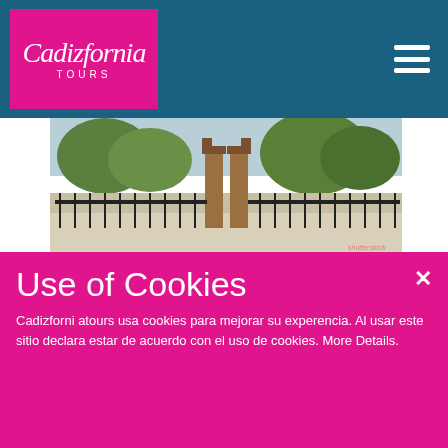Cadizfornia TOURS
[Figure (photo): Outdoor photo of a historic iron gate with stone pillars, trees visible in the background, on a street.]
Who was the Marquis of Comillas?
Sir Claudio López Bru (1853 – 1925), the Marquis of Comillas. He was a Spanish entrepreneur and philanthropist who was characterized by his most radical ideology of traditionalist conservatism.
He played a key role in the Spanish-American
Use of Cookies
Cadizforni atours usa cookies para mejorar su experencia. Al usar este sitio declara estar de acuerdo con el uso de cookies. More Details.